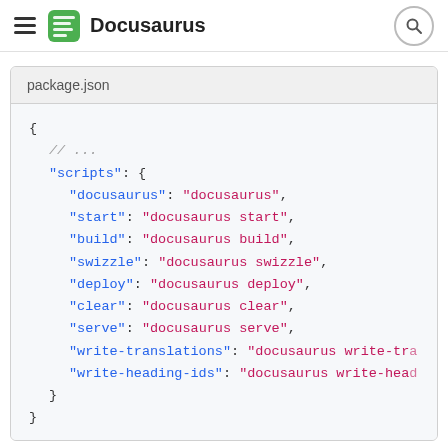Docusaurus
package.json
{
  // ...
  "scripts": {
    "docusaurus": "docusaurus",
    "start": "docusaurus start",
    "build": "docusaurus build",
    "swizzle": "docusaurus swizzle",
    "deploy": "docusaurus deploy",
    "clear": "docusaurus clear",
    "serve": "docusaurus serve",
    "write-translations": "docusaurus write-tra",
    "write-heading-ids": "docusaurus write-head"
  }
}